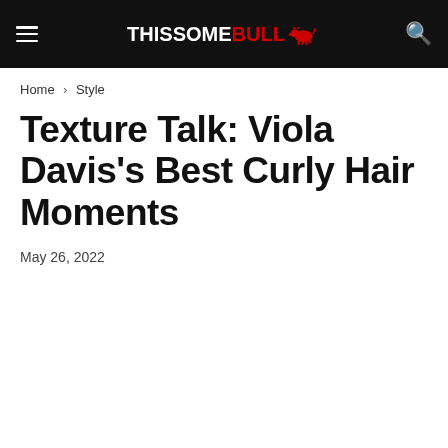THISSOMEBULL [logo with bull icon]
Home › Style
Texture Talk: Viola Davis's Best Curly Hair Moments
May 26, 2022